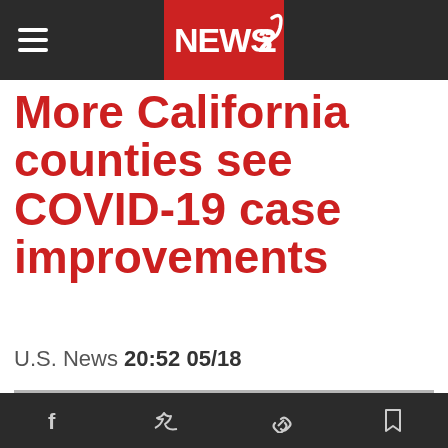NEWS 2 (navigation bar with hamburger menu and logo)
More California counties see COVID-19 case improvements
U.S. News 20:52 05/18
[Figure (photo): Gray placeholder thumbnail with NEWS 2 watermark logo]
Social share icons: Facebook, Twitter, link, bookmark